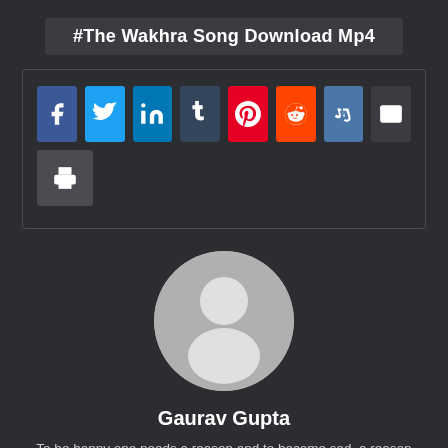#The Wakhra Song Download Mp4
[Figure (infographic): Social sharing buttons: Facebook, Twitter, LinkedIn, Tumblr, Pinterest, Reddit, VK, Email, Print]
[Figure (illustration): Generic user avatar — grey circle with white silhouette of a person]
Gaurav Gupta
To be happy one needs a reason and to become sad, a reason too. Take control of your life and nobody can control what you feel.